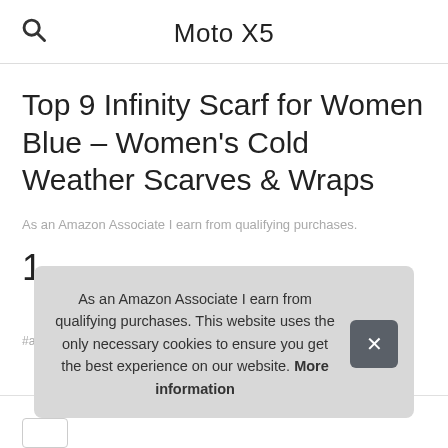Moto X5
Top 9 Infinity Scarf for Women Blue – Women's Cold Weather Scarves & Wraps
As an Amazon Associate I earn from qualifying purchases.
1.
#ad
As an Amazon Associate I earn from qualifying purchases. This website uses the only necessary cookies to ensure you get the best experience on our website. More information